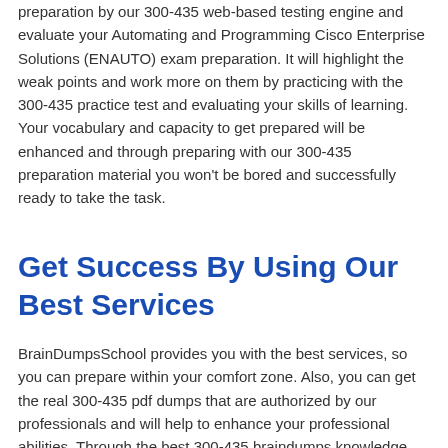preparation by our 300-435 web-based testing engine and evaluate your Automating and Programming Cisco Enterprise Solutions (ENAUTO) exam preparation. It will highlight the weak points and work more on them by practicing with the 300-435 practice test and evaluating your skills of learning. Your vocabulary and capacity to get prepared will be enhanced and through preparing with our 300-435 preparation material you won't be bored and successfully ready to take the task.
Get Success By Using Our Best Services
BrainDumpsSchool provides you with the best services, so you can prepare within your comfort zone. Also, you can get the real 300-435 pdf dumps that are authorized by our professionals and will help to enhance your professional abilities. Through the best 300-435 braindumps knowledge you can get more abilities and will be able to handle any situation like an